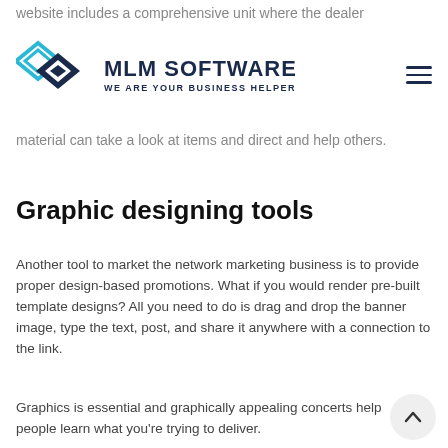website includes a comprehensive unit where the dealer
[Figure (logo): MLM Software logo with two overlapping diamond shapes in blue and cyan, with text 'MLM SOFTWARE' and 'WE ARE YOUR BUSINESS HELPER']
material can take a look at items and direct and help others.
Graphic designing tools
Another tool to market the network marketing business is to provide proper design-based promotions. What if you would render pre-built template designs? All you need to do is drag and drop the banner image, type the text, post, and share it anywhere with a connection to the link.
Graphics is essential and graphically appealing concerns help people learn what you're trying to deliver.